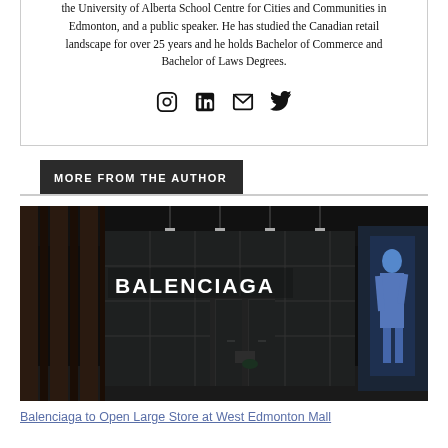the University of Alberta School Centre for Cities and Communities in Edmonton, and a public speaker. He has studied the Canadian retail landscape for over 25 years and he holds Bachelor of Commerce and Bachelor of Laws Degrees.
[Figure (infographic): Social media icons: Instagram, LinkedIn, Email/envelope, Twitter]
MORE FROM THE AUTHOR
[Figure (photo): Dark photograph of a Balenciaga luxury retail store exterior with large illuminated BALENCIAGA signage, glass facade, and a mannequin visible on the right side]
Balenciaga to Open Large Store at West Edmonton Mall